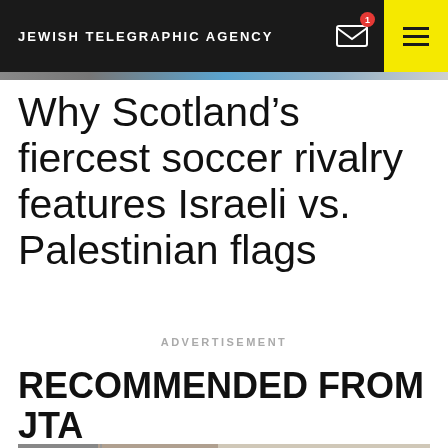JEWISH TELEGRAPHIC AGENCY
Why Scotland’s fiercest soccer rivalry features Israeli vs. Palestinian flags
ADVERTISEMENT
RECOMMENDED FROM JTA
[Figure (photo): Partial view of a street scene or building exterior]